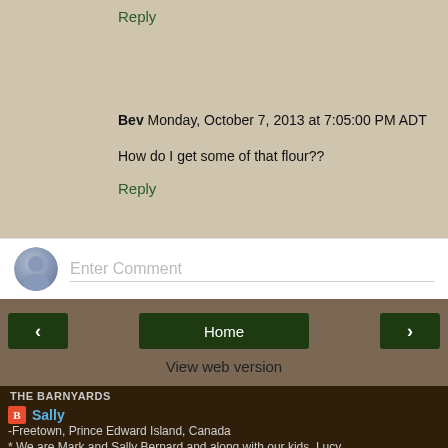Reply
Bev  Monday, October 7, 2013 at 7:05:00 PM ADT
How do I get some of that flour??
Reply
[Figure (screenshot): Comment input box with avatar and 'Enter Comment' placeholder text]
[Figure (screenshot): Navigation bar with back arrow, Home button, and forward arrow]
View web version
THE BARNYARDS
Sally
-Freetown, Prince Edward Island, Canada
* We are Mark and Sally Bernard and along with our kids, Lucy,